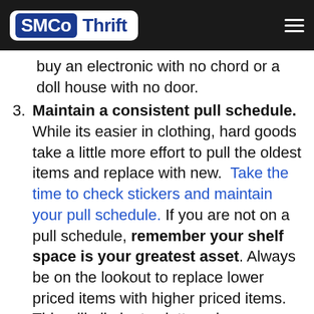SMCo Thrift
buy an electronic with no chord or a doll house with no door.
3. Maintain a consistent pull schedule. While its easier in clothing, hard goods take a little more effort to pull the oldest items and replace with new. Take the time to check stickers and maintain your pull schedule. If you are not on a pull schedule, remember your shelf space is your greatest asset. Always be on the lookout to replace lower priced items with higher priced items. This will eliminate clutter, give